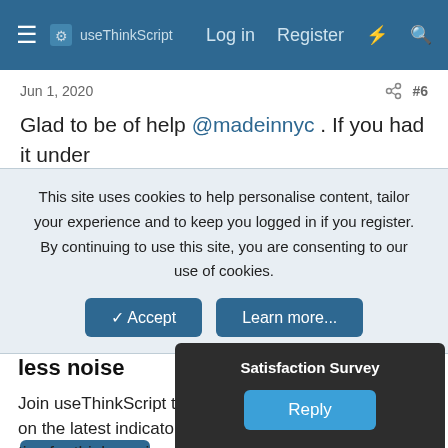useThinkScript  Log in  Register
Jun 1, 2020  #6
Glad to be of help @madeinnyc . If you had it under Studies instead of Strategies – no worries – it is a
This site uses cookies to help personalise content, tailor your experience and to keep you logged in if you register. By continuing to use this site, you are consenting to our use of cookies.
Accept  Learn more...
Make better trading decisions with less noise
Join useThinkScript to stay update to date on the latest indicators, trade strategies, and tips for thinkorswim.
Satisfaction Survey
Reply